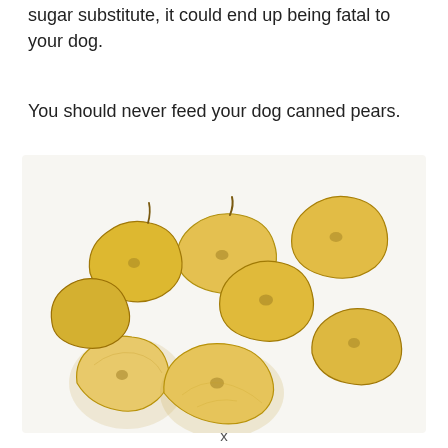sugar substitute, it could end up being fatal to your dog.
You should never feed your dog canned pears.
[Figure (photo): A pile of dried pear slices (dehydrated pear chips) arranged on a white background.]
x